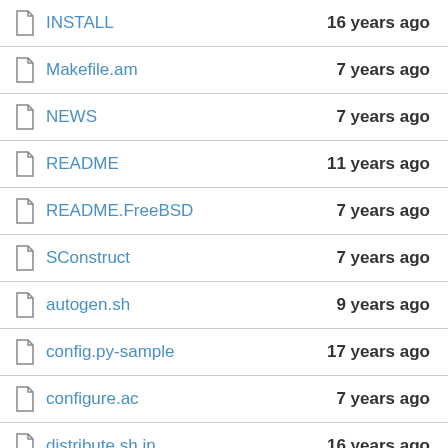INSTALL — 16 years ago
Makefile.am — 7 years ago
NEWS — 7 years ago
README — 11 years ago
README.FreeBSD — 7 years ago
SConstruct — 7 years ago
autogen.sh — 9 years ago
config.py-sample — 17 years ago
configure.ac — 7 years ago
distribute.sh.in — 16 years ago